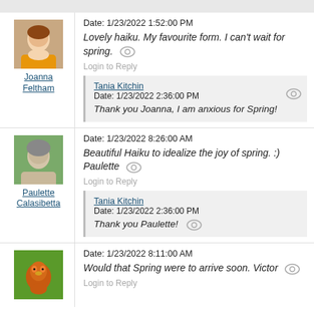Date: 1/23/2022 1:52:00 PM
Lovely haiku. My favourite form. I can't wait for spring.
Login to Reply
Tania Kitchin
Date: 1/23/2022 2:36:00 PM
Thank you Joanna, I am anxious for Spring!
Date: 1/23/2022 8:26:00 AM
Beautiful Haiku to idealize the joy of spring. :) Paulette
Login to Reply
Tania Kitchin
Date: 1/23/2022 2:36:00 PM
Thank you Paulette!
Date: 1/23/2022 8:11:00 AM
Would that Spring were to arrive soon. Victor